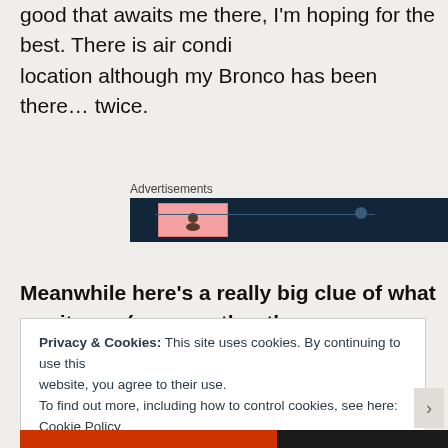good that awaits me there, I'm hoping for the best. There is air cond... location although my Bronco has been there… twice.
Advertisements
[Figure (other): Advertisement banner with dark navy background and pink/red highlighted box with a small icon, partial UI element]
Meanwhile here's a really big clue of what awaits me (among other th...
Privacy & Cookies: This site uses cookies. By continuing to use this website, you agree to their use.
To find out more, including how to control cookies, see here: Cookie Policy
Close and accept